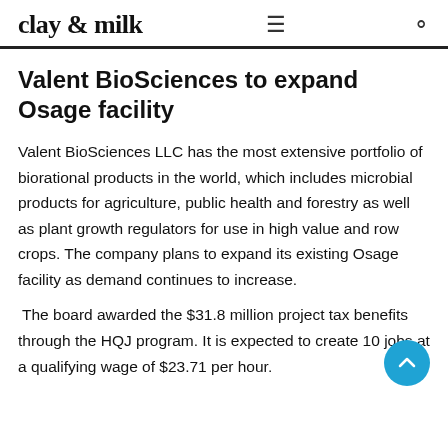clay & milk
Valent BioSciences to expand Osage facility
Valent BioSciences LLC has the most extensive portfolio of biorational products in the world, which includes microbial products for agriculture, public health and forestry as well as plant growth regulators for use in high value and row crops. The company plans to expand its existing Osage facility as demand continues to increase.
The board awarded the $31.8 million project tax benefits through the HQJ program. It is expected to create 10 jobs at a qualifying wage of $23.71 per hour.